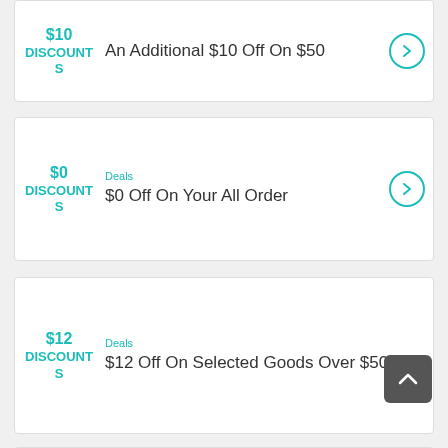$10 DISCOUNTS — An Additional $10 Off On $50
Deals — $0 Off On Your All Order
Deals — $12 Off On Selected Goods Over $50